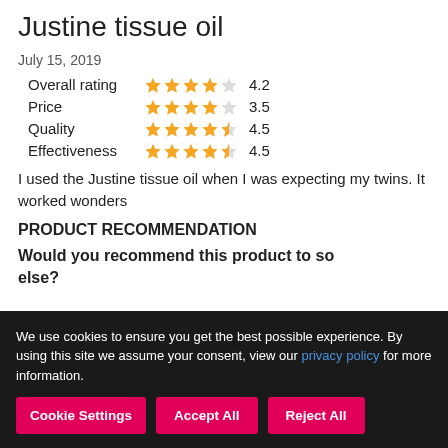Justine tissue oil
July 15, 2019
| Category | Stars | Value |
| --- | --- | --- |
| Overall rating | ★★★★☆ | 4.2 |
| Price | ★★★★☆ | 3.5 |
| Quality | ★★★★½ | 4.5 |
| Effectiveness | ★★★★½ | 4.5 |
I used the Justine tissue oil when I was expecting my twins. It worked wonders
PRODUCT RECOMMENDATION
Would you recommend this product to someone else?
We use cookies to ensure you get the best possible experience. By using this site we assume your consent, view our privacy policy for more information.